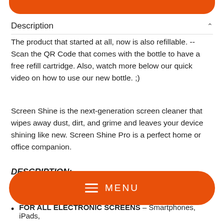Description
The product that started at all, now is also refillable. -- Scan the QR Code that comes with the bottle to have a free refill cartridge. Also, watch more below our quick video on how to use our new bottle. ;)
Screen Shine is the next-generation screen cleaner that wipes away dust, dirt, and grime and leaves your device shining like new. Screen Shine Pro is a perfect home or office companion.
DESCRIPTION:
POWERFUL SCREEN CLEANER – specifically designed to
FOR ALL ELECTRONIC SCREENS – Smartphones, iPads,